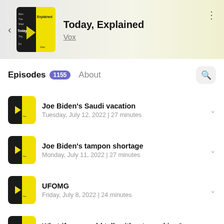[Figure (screenshot): Podcast app screenshot showing Today, Explained podcast page with episode list]
Today, Explained
Vox
Episodes 1155  About
Joe Biden's Saudi vacation
Tuesday, July 12, 2022 | 27 minutes
Joe Biden's tampon shortage
Monday, July 11, 2022 | 27 minutes
UFOMG
Friday, July 8, 2022 | 24 minutes
What if you could talk without speaking?
Thursday, July 7, 2022 | 27 minutes
How the US learned to love sanctions
Wednesday, July 6, 2022 | 27 minutes